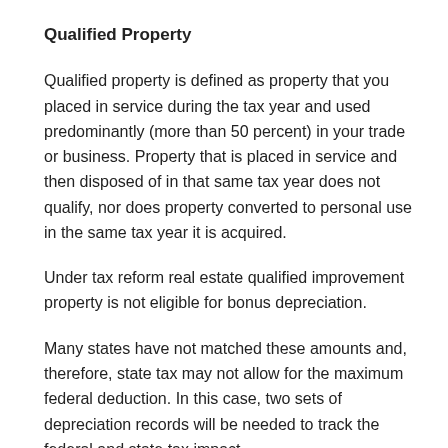Qualified Property
Qualified property is defined as property that you placed in service during the tax year and used predominantly (more than 50 percent) in your trade or business. Property that is placed in service and then disposed of in that same tax year does not qualify, nor does property converted to personal use in the same tax year it is acquired.
Under tax reform real estate qualified improvement property is not eligible for bonus depreciation.
Many states have not matched these amounts and, therefore, state tax may not allow for the maximum federal deduction. In this case, two sets of depreciation records will be needed to track the federal and state tax impact.
Please contact the office if you have any questions regarding